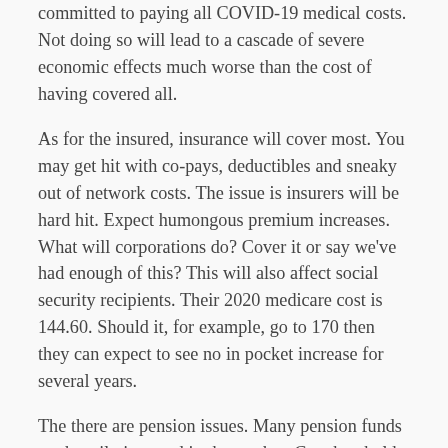committed to paying all COVID-19 medical costs. Not doing so will lead to a cascade of severe economic effects much worse than the cost of having covered all.
As for the insured, insurance will cover most. You may get hit with co-pays, deductibles and sneaky out of network costs. The issue is insurers will be hard hit. Expect humongous premium increases. What will corporations do? Cover it or say we've had enough of this? This will also affect social security recipients. Their 2020 medicare cost is 144.60. Should it, for example, go to 170 then they can expect to see no in pocket increase for several years.
The there are pension issues. Many pension funds are heavily invested in the market. Can they hold up?